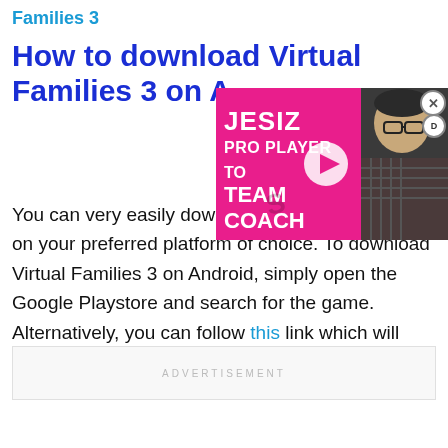Families 3
How to download Virtual Families 3 on A…
[Figure (screenshot): Video ad overlay showing 'JESIZ PRO PLAYER TO TEAM COACH' text on a pink/black background with a person wearing glasses on the right side and a play button in the center. A close (X) button is in the top-right corner.]
You can very easily download Virtual Families 3 on your preferred platform of choice. To download Virtual Families 3 on Android, simply open the Google Playstore and search for the game. Alternatively, you can follow this link which will take you straight to the game page on Playstore.
ADVERTISEMENT